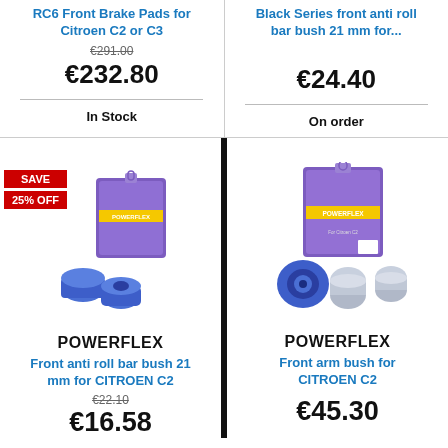RC6 Front Brake Pads for Citroen C2 or C3
€291.00 (strikethrough)
€232.80
In Stock
Black Series front anti roll bar bush 21 mm for...
€24.40
On order
SAVE
25% OFF
[Figure (photo): Powerflex purple front anti roll bar bush 21mm product with packaging]
POWERFLEX
Front anti roll bar bush 21 mm for CITROEN C2
€22.10 (strikethrough)
€16.58
[Figure (photo): Powerflex purple front arm bush for Citroen C2 product with packaging and metal inserts]
POWERFLEX
Front arm bush for CITROEN C2
€45.30